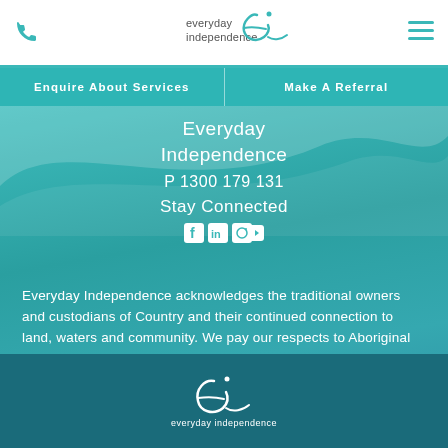Everyday Independence — phone icon, logo, hamburger menu
Enquire About Services | Make A Referral
Everyday Independence
P 1300 179 131
Stay Connected
[Figure (infographic): Social media icons: Facebook, LinkedIn, Instagram, YouTube]
Everyday Independence acknowledges the traditional owners and custodians of Country and their continued connection to land, waters and community. We pay our respects to Aboriginal and Torres Strait Islander cultures and Elders past and present.
[Figure (logo): Everyday Independence cursive 'e' logo with text 'everyday independence' on dark teal footer]